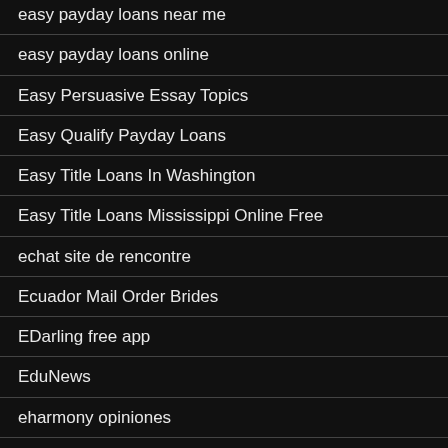easy payday loans near me
easy payday loans online
Easy Persuasive Essay Topics
Easy Qualify Payday Loans
Easy Title Loans In Washington
Easy Title Loans Mississippi Online Free
echat site de rencontre
Ecuador Mail Order Brides
EDarling free app
EduNews
eharmony opiniones
EHarmony promo code
eharmony review